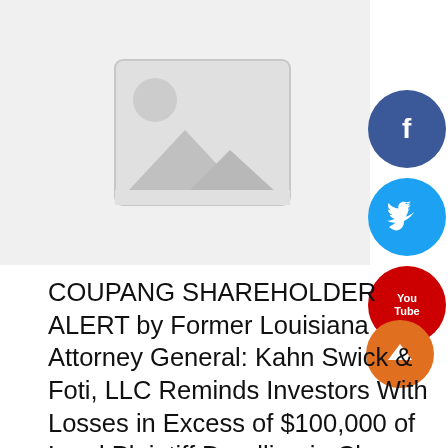[Figure (illustration): Image placeholder with mountain/landscape icon on light gray background]
[Figure (infographic): Social media share buttons: Facebook (dark blue circle with 'f'), Twitter (light blue circle with bird icon), YouTube (red circle with 'You Tube' text), and an orange scroll-to-top button]
COUPANG SHAREHOLDER ALERT by Former Louisiana Attorney General: Kahn Swick & Foti, LLC Reminds Investors With Losses in Excess of $100,000 of Lead Plaintiff Deadline in Class Action Lawsuit Against Coupang,